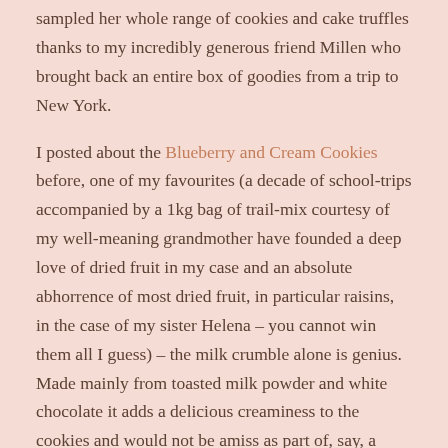sampled her whole range of cookies and cake truffles thanks to my incredibly generous friend Millen who brought back an entire box of goodies from a trip to New York.
I posted about the Blueberry and Cream Cookies before, one of my favourites (a decade of school-trips accompanied by a 1kg bag of trail-mix courtesy of my well-meaning grandmother have founded a deep love of dried fruit in my case and an absolute abhorrence of most dried fruit, in particular raisins, in the case of my sister Helena – you cannot win them all I guess) – the milk crumble alone is genius. Made mainly from toasted milk powder and white chocolate it adds a delicious creaminess to the cookies and would not be amiss as part of, say, a modern interpretation of Eton Mess.